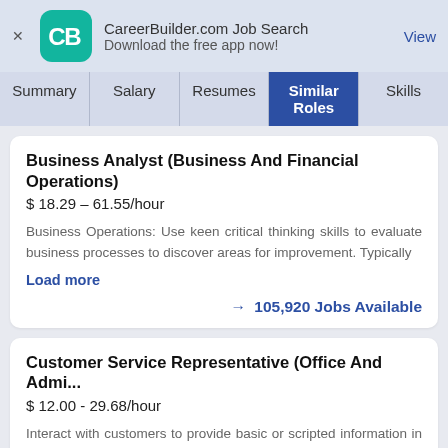[Figure (screenshot): CareerBuilder.com Job Search app advertisement banner with CB logo, app name, tagline 'Download the free app now!', and a 'View' link]
Summary | Salary | Resumes | Similar Roles | Skills
Business Analyst (Business And Financial Operations)
$ 18.29 – 61.55/hour
Business Operations: Use keen critical thinking skills to evaluate business processes to discover areas for improvement. Typically
Load more
→ 105,920 Jobs Available
Customer Service Representative (Office And Admi...
$ 12.00 - 29.68/hour
Interact with customers to provide basic or scripted information in response to routine inquiries about products and services. May handle
Load more
→ 154,561 Jobs Available